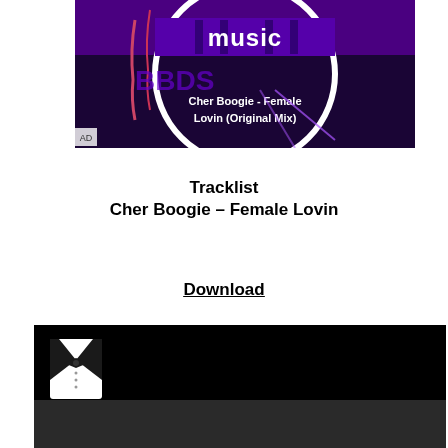[Figure (photo): Album artwork for Cher Boogie - Female Lovin (Original Mix). Purple and black graffiti-style artwork with white circle logo showing 'music' text. Text overlay reads 'Cher Boogie - Female Lovin (Original Mix)']
Tracklist
Cher Boogie – Female Lovin
Download
[Figure (photo): Black background image with a white tuxedo/bow-tie logo icon in the top left corner]